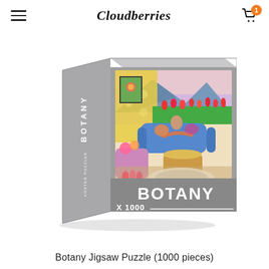Cloudberries
[Figure (photo): Product photo of the Botany Jigsaw Puzzle box by Cloudberries. The box is shown at an angle, grey with a colorful image on the front depicting a woman reclining on a blue sofa surrounded by flowers, tulips, and a mountain background. The box front reads 'BOTANY' in large white letters and 'X 1000' at the bottom. The spine reads 'BOTANY' and 'FOSTER PUZZLES'.]
Botany Jigsaw Puzzle (1000 pieces)